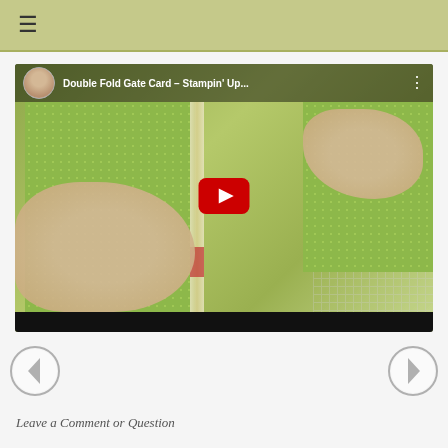[Figure (screenshot): Mobile app screenshot showing a hamburger menu icon on a green/olive colored top navigation bar]
[Figure (screenshot): YouTube video thumbnail for 'Double Fold Gate Card - Stampin' Up...' showing hands working with green patterned cardstock on a paper trimmer. A red YouTube play button is centered on the thumbnail. Channel avatar of a woman with glasses is in top left corner.]
[Figure (screenshot): Navigation arrows - left arrow (back) on lower left and right arrow (forward) on lower right for carousel navigation]
Leave a Comment or Question